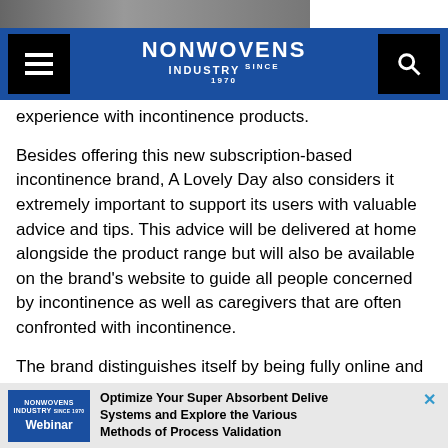[Figure (photo): Partial image strip at top left]
NONWOVENS INDUSTRY
experience with incontinence products.
Besides offering this new subscription-based incontinence brand, A Lovely Day also considers it extremely important to support its users with valuable advice and tips. This advice will be delivered at home alongside the product range but will also be available on the brand's website to guide all people concerned by incontinence as well as caregivers that are often confronted with incontinence.
The brand distinguishes itself by being fully online and subscription-based, offering a range of quality products with a candid communication style. A Lovely Day is first launched on the French market, with a possibility to roll out in other markets, in a similar approach to Ontex's growing
[Figure (other): Advertisement banner: Nonwovens Industry Webinar - Optimize Your Super Absorbent Delivery Systems and Explore the Various Methods of Process Validation]